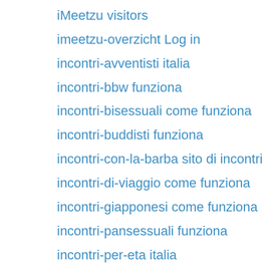iMeetzu inscription
iMeetzu visitors
imeetzu-overzicht Log in
incontri-avventisti italia
incontri-bbw funziona
incontri-bisessuali come funziona
incontri-buddisti funziona
incontri-con-la-barba sito di incontri
incontri-di-viaggio come funziona
incontri-giapponesi come funziona
incontri-pansessuali funziona
incontri-per-eta italia
incontri-per-nudisti sito di incontri
incontri-sobri come funziona
independence escort services near me
india-cupid incontriol